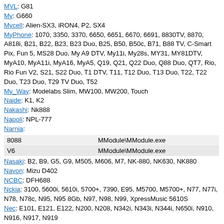MVL: G81
My: G660
Mycell: Alien-SX3, iRON4, P2, SX4
MyPhone: 1070, 3350, 3370, 6650, 6651, 6670, 6691, 8830TV, 8870, A818i, B21, B22, B23, B23 Duo, B25, B50, B50c, B71, B88 TV, C-Smart Pix, Fun 5, MS28 Duo, My A9 DTV, My11i, My28s, MY31, MY81DTV, MyA10, MyA11i, MyA16, MyA5, Q19, Q21, Q22 Duo, Q88 Duo, QT7, Rio, Rio Fun V2, S21, S22 Duo, T1 DTV, T11, T12 Duo, T13 Duo, T22, T22 Duo, T23 Duo, T29 TV Duo, T52
My_Way: Modelabs Slim, MW100, MW200, Touch
Naide: K1, K2
Nakashi: Nk888
Napoli: NPL-777
Narnia:
| 8088 | MModule\MModule.exe |
| V6 | MModule\MModule.exe |
Nasaki: B2, B9, G5, G9, M505, M606, M7, NK-880, NK630, NK880
Navon: Mizu D402
NCBC: DFH688
Nckia: 3100, 5600i, 5610i, 5700+, 7390, E95, M5700, M5700+, N77, N77i, N78, N78c, N95, N95 8Gb, N97, N98, N99, XpressMusic 5610S
Nec: E101, E121, E122, N200, N208, N342i, N343i, N344i, N650i, N910, N916, N917, N919
NECcom: A007, A0078, A6, N880, N990, N990+
Neffos: TP904A
Nektel: C7000
Neoi: 809
Neoniq: NQT 1013GIQ
Nerys: N330
Nestel: 112, N110, N6
Neutab: Air 7
New-Sun: N18